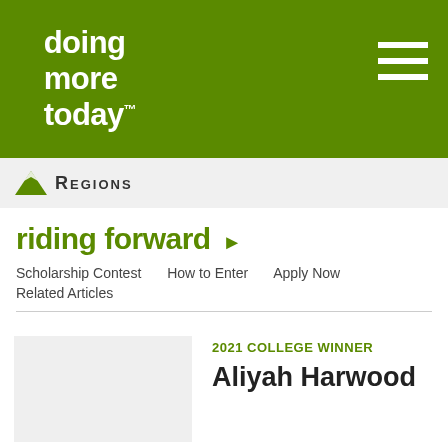doing more today
[Figure (logo): Regions Bank logo with mountain/triangle icon and 'REGIONS' text]
riding forward ▶
Scholarship Contest   How to Enter   Apply Now   Related Articles
[Figure (photo): Placeholder image for 2021 College Winner]
2021 COLLEGE WINNER
Aliyah Harwood